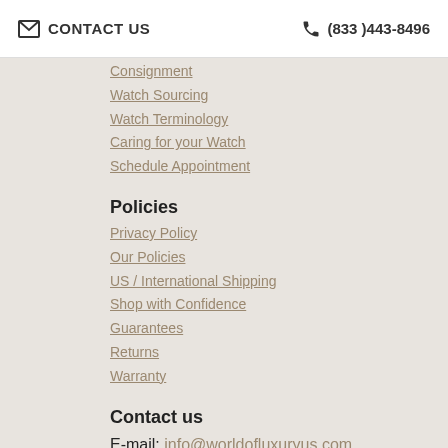CONTACT US  (833)443-8496
Consignment
Watch Sourcing
Watch Terminology
Caring for your Watch
Schedule Appointment
Policies
Privacy Policy
Our Policies
US / International Shipping
Shop with Confidence
Guarantees
Returns
Warranty
Contact us
E-mail: info@worldofluxuryus.com
Tel: (833) 443-8496